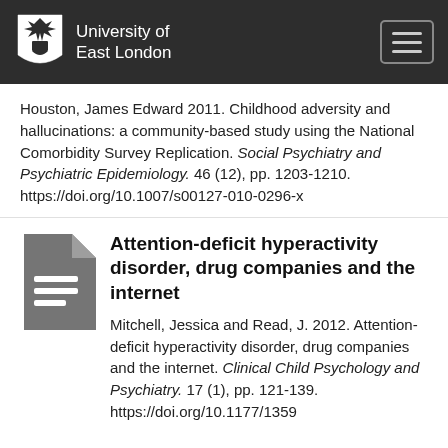University of East London
Houston, James Edward 2011. Childhood adversity and hallucinations: a community-based study using the National Comorbidity Survey Replication. Social Psychiatry and Psychiatric Epidemiology. 46 (12), pp. 1203-1210. https://doi.org/10.1007/s00127-010-0296-x
Attention-deficit hyperactivity disorder, drug companies and the internet
Mitchell, Jessica and Read, J. 2012. Attention-deficit hyperactivity disorder, drug companies and the internet. Clinical Child Psychology and Psychiatry. 17 (1), pp. 121-139. https://doi.org/10.1177/1359